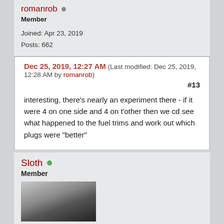romanrob
Member
Joined: Apr 23, 2019
Posts: 662
Dec 25, 2019, 12:27 AM (Last modified: Dec 25, 2019, 12:28 AM by romanrob)
#13
interesting, there's nearly an experiment there - if it were 4 on one side and 4 on t'other then we cd see what happened to the fuel trims and work out which plugs were "better"
Sloth
Member
[Figure (photo): Avatar image of a cat (Siamese or similar), partially visible at the bottom of the page]